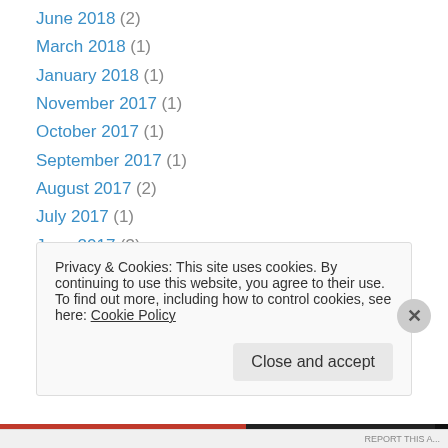June 2018 (2)
March 2018 (1)
January 2018 (1)
November 2017 (1)
October 2017 (1)
September 2017 (1)
August 2017 (2)
July 2017 (1)
June 2017 (3)
April 2017 (2)
March 2017 (1)
February 2017 (1)
January 2017 (3)
Privacy & Cookies: This site uses cookies. By continuing to use this website, you agree to their use. To find out more, including how to control cookies, see here: Cookie Policy
Close and accept